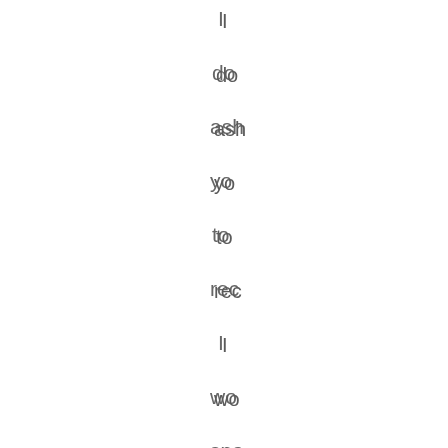I do ask you to rec I wo spa you Th blo is pu my ho to